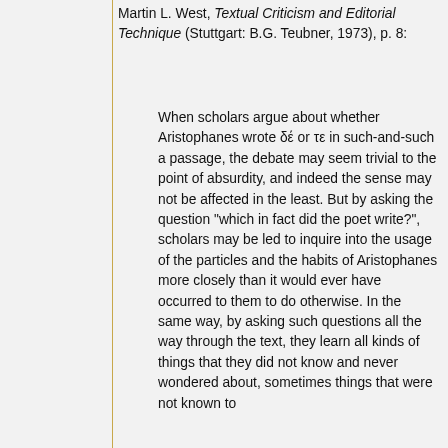Martin L. West, Textual Criticism and Editorial Technique (Stuttgart: B.G. Teubner, 1973), p. 8:
When scholars argue about whether Aristophanes wrote δέ or τε in such-and-such a passage, the debate may seem trivial to the point of absurdity, and indeed the sense may not be affected in the least. But by asking the question "which in fact did the poet write?", scholars may be led to inquire into the usage of the particles and the habits of Aristophanes more closely than it would ever have occurred to them to do otherwise. In the same way, by asking such questions all the way through the text, they learn all kinds of things that they did not know and never wondered about, sometimes things that were not known to